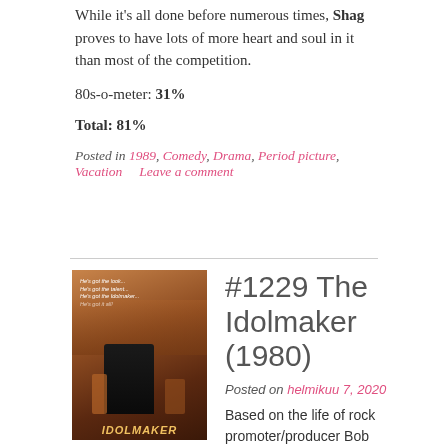While it's all done before numerous times, Shag proves to have lots of more heart and soul in it than most of the competition.
80s-o-meter: 31%
Total: 81%
Posted in 1989, Comedy, Drama, Period picture, Vacation    Leave a comment
[Figure (photo): Movie poster for The Idolmaker (1980) showing a performer on stage with crowd in background, dark warm tones]
#1229 The Idolmaker (1980)
Posted on helmikuu 7, 2020
Based on the life of rock promoter/producer Bob Marcucci, The Idolmaker tells a story of a musician who, after failing to become